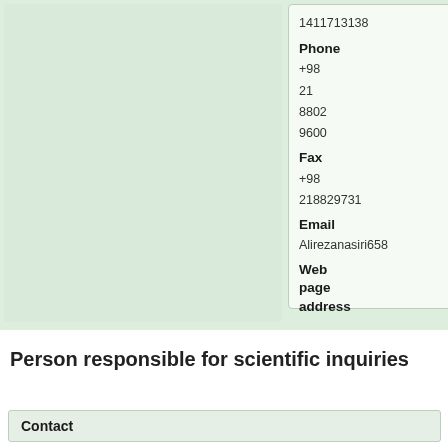1411713138
Phone
+98
21
8802
9600
Fax
+98
218829731
Email
Alirezanasiri658
Web page address
Person responsible for scientific inquiries
Contact